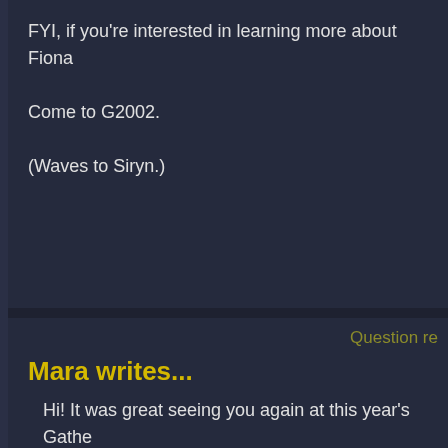FYI, if you're interested in learning more about Fiona
Come to G2002.
(Waves to Siryn.)
Question re
Mara writes...
Hi! It was great seeing you again at this year's Gathe comments and the like, regarding that event).
Anyway, you wrote:
I don't have any more plans for the pie gun.
But I have very specific plans for the guy the pie gun
And I just, belatedly, realize that Carter is the alias th Moon. If I remember correctly, that in your plans, Ca he (Canmore) the one you are referring to?
It always seemed to me that Jon having access to TV influence to the public at large than being the la